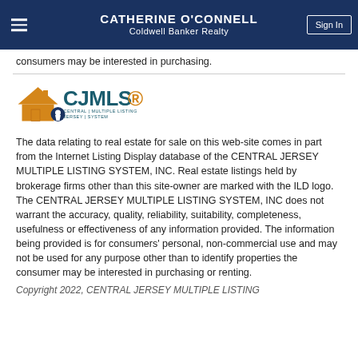CATHERINE O'CONNELL Coldwell Banker Realty
consumers may be interested in purchasing.
[Figure (logo): CJMLS Central Jersey Multiple Listing System logo with orange house icon and teal text]
The data relating to real estate for sale on this web-site comes in part from the Internet Listing Display database of the CENTRAL JERSEY MULTIPLE LISTING SYSTEM, INC. Real estate listings held by brokerage firms other than this site-owner are marked with the ILD logo. The CENTRAL JERSEY MULTIPLE LISTING SYSTEM, INC does not warrant the accuracy, quality, reliability, suitability, completeness, usefulness or effectiveness of any information provided. The information being provided is for consumers' personal, non-commercial use and may not be used for any purpose other than to identify properties the consumer may be interested in purchasing or renting.
Copyright 2022, CENTRAL JERSEY MULTIPLE LISTING